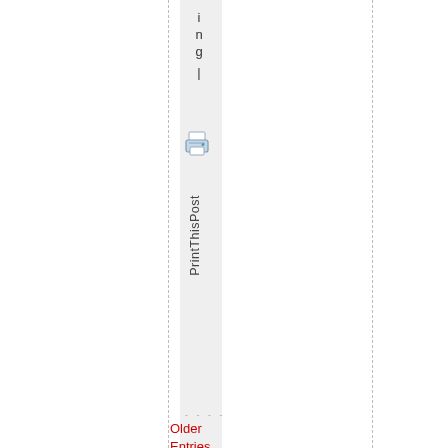ing
[Figure (illustration): Small printer icon (blue/gray) representing a print button in a vertical sidebar]
PrintThisPost
- - - -
Older Entries
» Newer